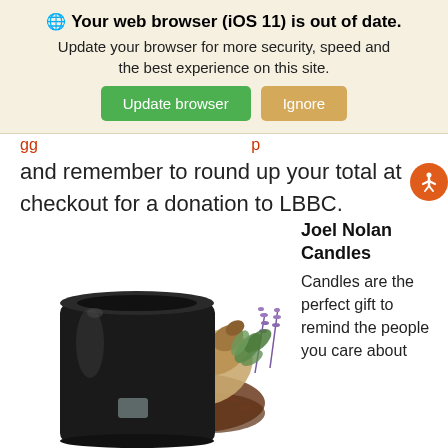🌐 Your web browser (iOS 11) is out of date. Update your browser for more security, speed and the best experience on this site. [Update browser] [Ignore]
and remember to round up your total at checkout for a donation to LBBC.
[Figure (photo): A black ceramic candle jar next to a spilled bag of dried herbs/tea leaves and sprigs of lavender and eucalyptus on a white background.]
Joel Nolan Candles
Candles are the perfect gift to remind the people you care about